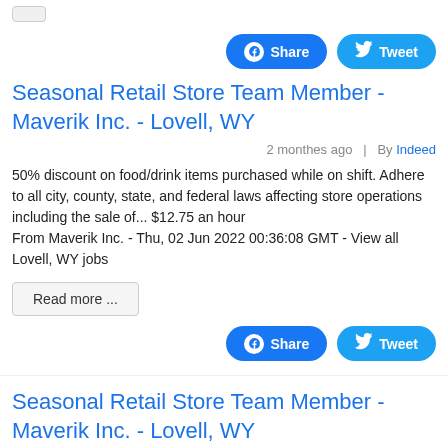[Figure (other): Top partial button (cropped from previous section)]
[Figure (other): Facebook Share and Twitter Tweet social buttons (top)]
Seasonal Retail Store Team Member - Maverik Inc. - Lovell, WY
2 monthes ago  |  By Indeed
50% discount on food/drink items purchased while on shift. Adhere to all city, county, state, and federal laws affecting store operations including the sale of... $12.75 an hour
From Maverik Inc. - Thu, 02 Jun 2022 00:36:08 GMT - View all Lovell, WY jobs
[Figure (other): Read more ... button]
[Figure (other): Facebook Share and Twitter Tweet social buttons (bottom)]
Seasonal Retail Store Team Member - Maverik Inc. - Lovell, WY
2 monthes ago  |  By Indeed